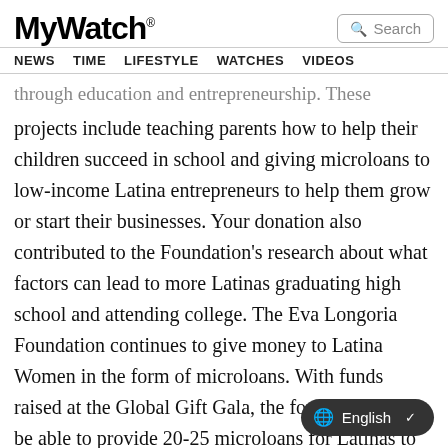MyWatch® NEWS TIME LIFESTYLE WATCHES VIDEOS
through education and entrepreneurship. These projects include teaching parents how to help their children succeed in school and giving microloans to low-income Latina entrepreneurs to help them grow or start their businesses. Your donation also contributed to the Foundation's research about what factors can lead to more Latinas graduating high school and attending college. The Eva Longoria Foundation continues to give money to Latina Women in the form of microloans. With funds raised at the Global Gift Gala, the foundation will be able to provide 20-25 microloans for Latinas to be able to start up their own companies.